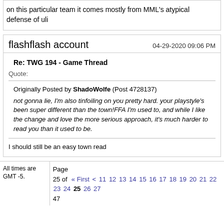on this particular team it comes mostly from MML's atypical defense of uli
flashflash account
04-29-2020 09:06 PM
Re: TWG 194 - Game Thread
Quote:
Originally Posted by ShadoWolfe (Post 4728137)
not gonna lie, I'm also tinfoiling on you pretty hard. your playstyle's been super different than the town!FFA I'm used to, and while I like the change and love the more serious approach, it's much harder to read you than it used to be.
I should still be an easy town read
All times are GMT -5.
Page 25 of 47  « First  <  11  12  13  14  15  16  17  18  19  20  21  22  23  24  25  26  27